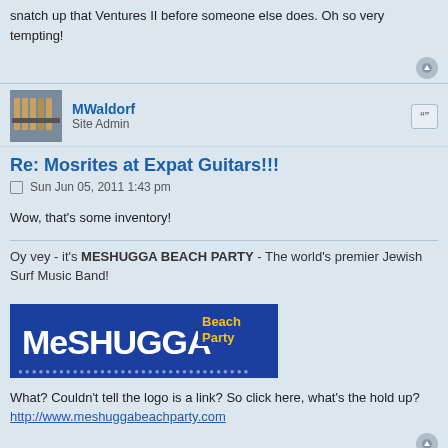snatch up that Ventures II before someone else does. Oh so very tempting!
MWaldorf
Site Admin
Re: Mosrites at Expat Guitars!!!
Sun Jun 05, 2011 1:43 pm
Wow, that's some inventory!
Oy vey - it's MESHUGGA BEACH PARTY - The world's premier Jewish Surf Music Band!
[Figure (logo): Meshugga Beach Party logo — white stylized text on blue background with yellow 'Beach Party' text]
What? Couldn't tell the logo is a link? So click here, what's the hold up?
http://www.meshuggabeachparty.com
dorkrockrecords
Master Contributor
Re: Mosrites at Expat Guitars!!!